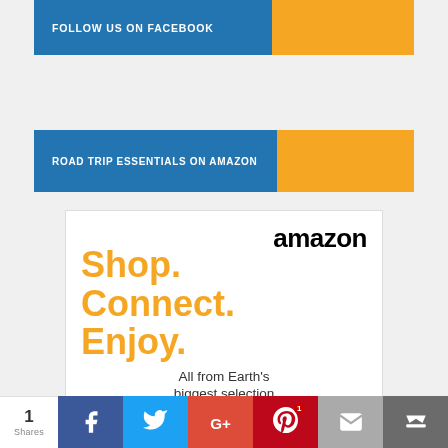[Figure (infographic): Follow us on Facebook banner: blue section with white uppercase text 'FOLLOW US ON FACEBOOK', orange section to the right]
[Figure (infographic): Road Trip Essentials on Amazon banner: blue section with white uppercase text 'ROAD TRIP ESSENTIALS ON AMAZON', orange section to the right]
[Figure (infographic): Amazon advertisement box with logo, tagline 'Shop. Connect. Enjoy.' in orange, and 'All from Earth's biggest selection' in gray]
[Figure (infographic): Social share bar at bottom with share count '1 Shares', Facebook (blue), Twitter (cyan), Google+ (red-orange), Pinterest (dark red with badge '1'), Email (gray), and crown/bookmark (dark gray) buttons]